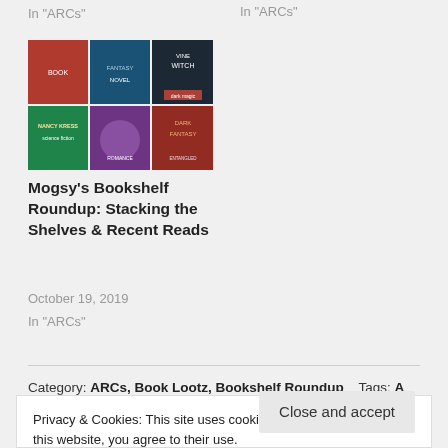In "ARCs"
In "ARCs"
[Figure (photo): Grid of 6 book covers in a 3x2 arrangement]
Mogsy's Bookshelf Roundup: Stacking the Shelves & Recent Reads
October 19, 2019
In "ARCs"
Category: ARCs, Book Lootz, Bookshelf Roundup    Tags: A
Privacy & Cookies: This site uses cookies. By continuing to use this website, you agree to their use.
To find out more, including how to control cookies, see here: Cookie Policy
Close and accept